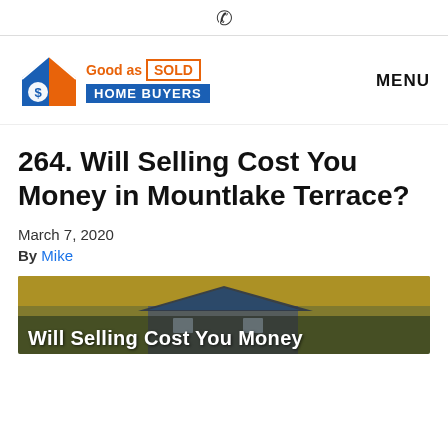☎
[Figure (logo): Good as Sold Home Buyers logo with house icon in blue and orange]
MENU
264. Will Selling Cost You Money in Mountlake Terrace?
March 7, 2020
By Mike
[Figure (photo): Aerial photo of a house with autumn trees and overlay text 'Will Selling Cost You Money']